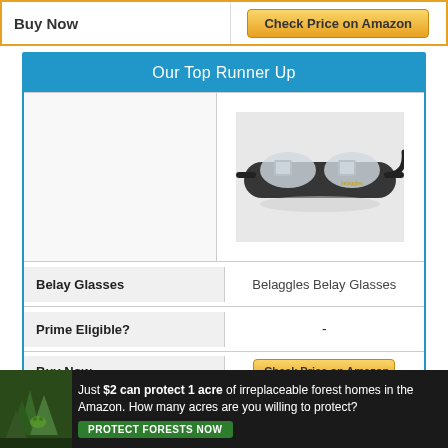| Buy Now | Check Price on Amazon |
| --- | --- |
Our Top Runner Up
|  |  |
| --- | --- |
| [product image area] | [belaggles belay glasses image] |
| Belay Glasses | Belaggles Belay Glasses |
| Prime Eligible? | - |
| Buy Now | Check Price on Amazon |
[Figure (photo): Belaggles Belay Glasses product photo showing dark-framed glasses with prism lenses on a light background]
Just $2 can protect 1 acre of irreplaceable forest homes in the Amazon. How many acres are you willing to protect?
PROTECT FORESTS NOW